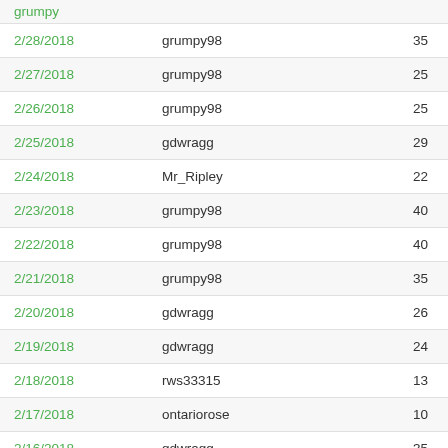| Date | User | Count |
| --- | --- | --- |
| 2/28/2018 | grumpy98 | 35 |
| 2/27/2018 | grumpy98 | 25 |
| 2/26/2018 | grumpy98 | 25 |
| 2/25/2018 | gdwragg | 29 |
| 2/24/2018 | Mr_Ripley | 22 |
| 2/23/2018 | grumpy98 | 40 |
| 2/22/2018 | grumpy98 | 40 |
| 2/21/2018 | grumpy98 | 35 |
| 2/20/2018 | gdwragg | 26 |
| 2/19/2018 | gdwragg | 24 |
| 2/18/2018 | rws33315 | 13 |
| 2/17/2018 | ontariorose | 10 |
| 2/16/2018 | gdwragg | 35 |